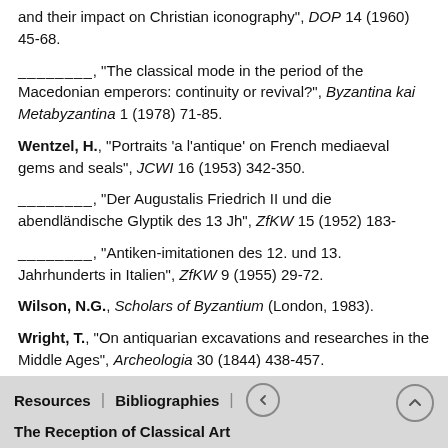and their impact on Christian iconography", DOP 14 (1960) 45-68.
________, "The classical mode in the period of the Macedonian emperors: continuity or revival?", Byzantina kai Metabyzantina 1 (1978) 71-85.
Wentzel, H., "Portraits 'a l'antique' on French mediaeval gems and seals", JCWI 16 (1953) 342-350.
________, "Der Augustalis Friedrich II und die abendländische Glyptik des 13 Jh", ZfKW 15 (1952) 183-
________, "Antiken-imitationen des 12. und 13. Jahrhunderts in Italien", ZfKW 9 (1955) 29-72.
Wilson, N.G., Scholars of Byzantium (London, 1983).
Wright, T., "On antiquarian excavations and researches in the Middle Ages", Archeologia 30 (1844) 438-457.
Zanker, P., Klassizisische Statuen (Mainz, 1974).
Resources | Bibliographies | < | The Reception of Classical Art